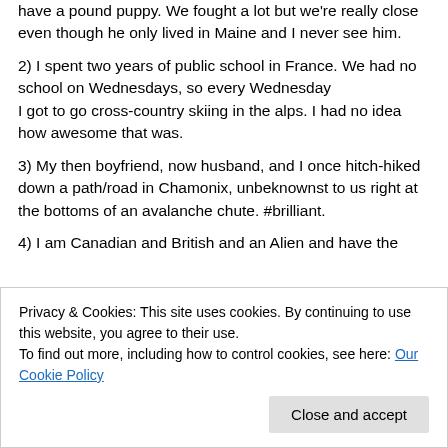have a pound puppy. We fought a lot but we're really close even though he only lived in Maine and I never see him.
2) I spent two years of public school in France. We had no school on Wednesdays, so every Wednesday I got to go cross-country skiing in the alps. I had no idea how awesome that was.
3) My then boyfriend, now husband, and I once hitch-hiked down a path/road in Chamonix, unbeknownst to us right at the bottoms of an avalanche chute. #brilliant.
4) I am Canadian and British and an Alien and have the
Privacy & Cookies: This site uses cookies. By continuing to use this website, you agree to their use.
To find out more, including how to control cookies, see here: Our Cookie Policy
Close and accept